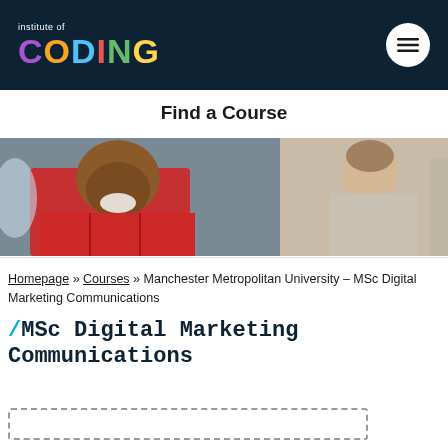institute of CODING
Find a Course
[Figure (photo): Hero image showing two students working; a smiling Black man in a red plaid shirt on the left and a woman in the background on the right]
Homepage » Courses » Manchester Metropolitan University – MSc Digital Marketing Communications
/MSc Digital Marketing Communications